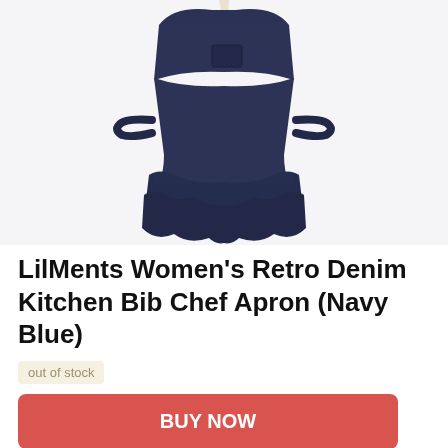[Figure (photo): Navy blue denim women's retro bib chef apron with ruffled skirt layers and neck strap, displayed on a light background]
LilMents Women's Retro Denim Kitchen Bib Chef Apron (Navy Blue)
out of stock
BUY NOW
Amazon.com